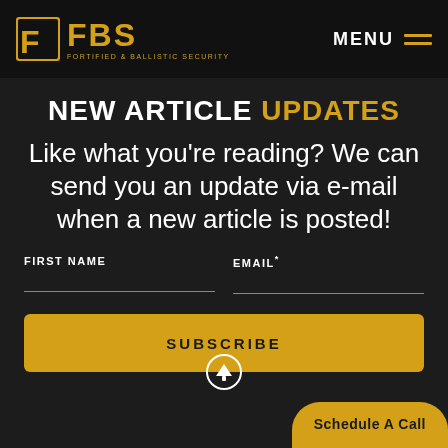FBS FORTIFIED & BALLISTIC SECURITY — MENU
NEW ARTICLE UPDATES
Like what you're reading? We can send you an update via e-mail when a new article is posted!
FIRST NAME   EMAIL*
SUBSCRIBE
Schedule A Call